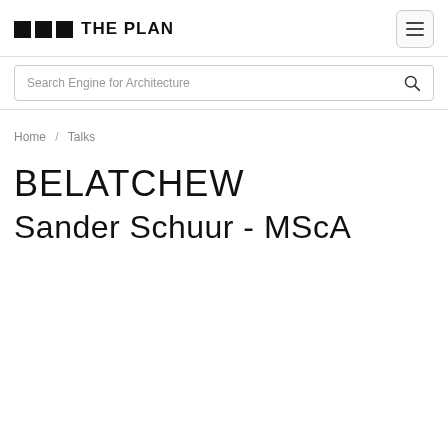THE PLAN
Search Engine for Architecture
Home / Talks
BELATCHEW
Sander Schuur - MScA